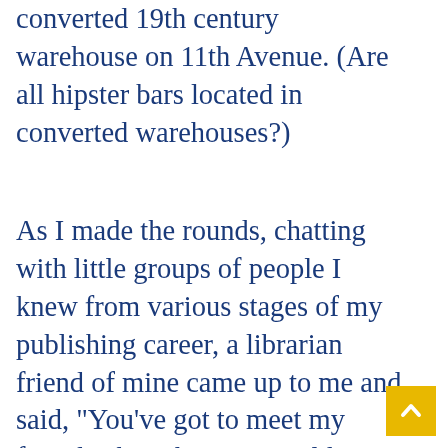converted 19th century warehouse on 11th Avenue. (Are all hipster bars located in converted warehouses?)
As I made the rounds, chatting with little groups of people I knew from various stages of my publishing career, a librarian friend of mine came up to me and said, "You've got to meet my friend! She's the artist I told you about, who works at my school."
I remembered that she had told me about this young woman, an aspiring graphic novelist, who had attended